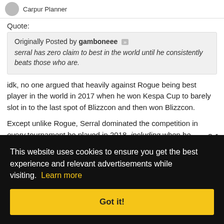Carpur Planner
Quote:
Originally Posted by gamboneee
serral has zero claim to best in the world until he consistently beats those who are.
idk, no one argued that heavily against Rogue being best player in the world in 2017 when he won Kespa Cup to barely slot in to the last spot of Blizzcon and then won Blizzcon.
Except unlike Rogue, Serral dominated the competition in every tournament he played in 2018, including when he
n, 3-1
o over
over
r with
est
t.
g the
ess
This website uses cookies to ensure you get the best experience and relevant advertisements while visiting. Learn more
Got it!